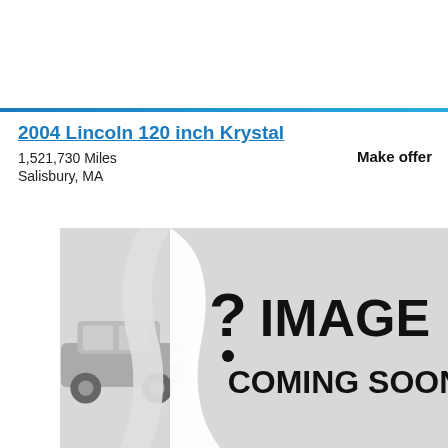2004 Lincoln 120 inch Krystal
1,521,730 Miles
Salisbury, MA
Make offer
[Figure (illustration): Image Coming Soon placeholder with car silhouette on left and peeling paper curl effect revealing '? IMAGE COMING SOON' text in bold black on grey background]